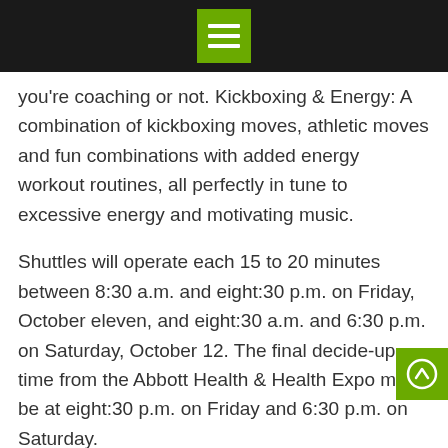[Menu icon]
you're coaching or not. Kickboxing & Energy: A combination of kickboxing moves, athletic moves and fun combinations with added energy workout routines, all perfectly in tune to excessive energy and motivating music.
Shuttles will operate each 15 to 20 minutes between 8:30 a.m. and eight:30 p.m. on Friday, October eleven, and eight:30 a.m. and 6:30 p.m. on Saturday, October 12. The final decide-up time from the Abbott Health & Health Expo might be at eight:30 p.m. on Friday and 6:30 p.m. on Saturday.
Workouts tailor-made specifically to each group based on private objectives and health levels. This class will even educate you the fundamentals of kicking and